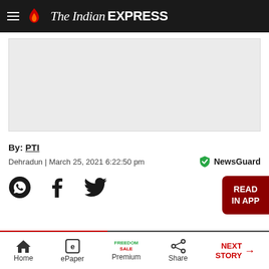The Indian EXPRESS
[Figure (other): Advertisement placeholder — light grey rectangle]
By: PTI
Dehradun | March 25, 2021 6:22:50 pm
[Figure (other): NewsGuard badge with green shield checkmark icon]
[Figure (other): Social share icons: WhatsApp, Facebook, Twitter]
[Figure (other): READ IN APP button — dark red rounded button on right edge]
Home | ePaper | Premium | Share | NEXT STORY →